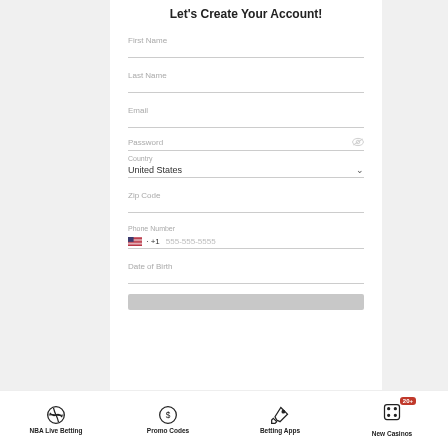Let's Create Your Account!
First Name
Last Name
Email
Password
Country
United States
Zip Code
Phone Number
+1   555-555-5555
Date of Birth
[Figure (infographic): Bottom navigation bar with four items: NBA Live Betting (basketball icon), Promo Codes (dollar circle icon), Betting Apps (rocket icon), New Casinos (dice icon with 20+ badge)]